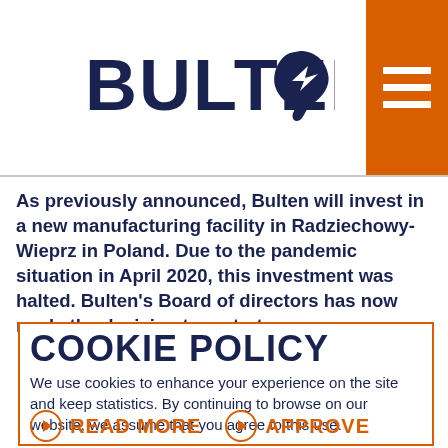[Figure (logo): Bulten logo with company name in dark navy and a stylized hand/bolt icon]
As previously announced, Bulten will invest in a new manufacturing facility in Radziechowy-Wieprz in Poland. Due to the pandemic situation in April 2020, this investment was halted. Bulten's Board of directors has now made the decision to restart
COOKIE POLICY
We use cookies to enhance your experience on the site and keep statistics. By continuing to browse on our website, we assume that you agree to this use.
READ MORE
APPROVE